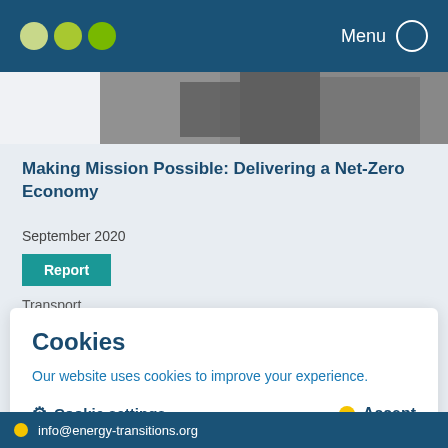Menu
[Figure (screenshot): Partial photo of a person or vehicle, partially visible at top of card]
Making Mission Possible: Delivering a Net-Zero Economy
September 2020
Report
Transport
Cookies
Our website uses cookies to improve your experience.
Cookie settings
Accept
info@energy-transitions.org